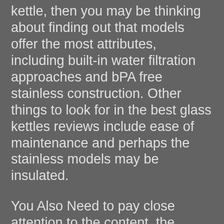kettle, then you may be thinking about finding out that models offer the most attributes, including built-in water filtration approaches and bPA free stainless construction. Other things to look for in the best glass kettles reviews include ease of maintenance and perhaps the stainless models may be insulated.
You Also Need to pay close attention to the content, the Handle is made from. Most glass kettle manages are manufactured of glass because this type of content is sufficiently powerful to withstand warmth and keeps up to being cleaned with soap and waterresistant. But, plastic grips can't take this abuse, specially if you make use of your kettle